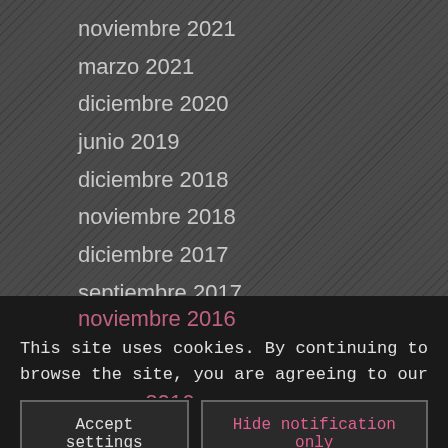noviembre 2021
marzo 2021
diciembre 2020
junio 2019
diciembre 2018
noviembre 2018
diciembre 2017
septiembre 2017
junio 2017
marzo 2017
noviembre 2016
marzo 2016
This site uses cookies. By continuing to browse the site, you are agreeing to our use of cookies.
Accept settings
Hide notification only
Configuración general